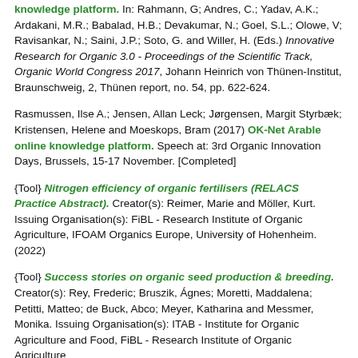knowledge platform. In: Rahmann, G; Andres, C.; Yadav, A.K.; Ardakani, M.R.; Babalad, H.B.; Devakumar, N.; Goel, S.L.; Olowe, V; Ravisankar, N.; Saini, J.P.; Soto, G. and Willer, H. (Eds.) Innovative Research for Organic 3.0 - Proceedings of the Scientific Track, Organic World Congress 2017, Johann Heinrich von Thünen-Institut, Braunschweig, 2, Thünen report, no. 54, pp. 622-624.
Rasmussen, Ilse A.; Jensen, Allan Leck; Jørgensen, Margit Styrbæk; Kristensen, Helene and Moeskops, Bram (2017) OK-Net Arable online knowledge platform. Speech at: 3rd Organic Innovation Days, Brussels, 15-17 November. [Completed]
{Tool} Nitrogen efficiency of organic fertilisers (RELACS Practice Abstract). Creator(s): Reimer, Marie and Möller, Kurt. Issuing Organisation(s): FiBL - Research Institute of Organic Agriculture, IFOAM Organics Europe, University of Hohenheim. (2022)
{Tool} Success stories on organic seed production & breeding. Creator(s): Rey, Frederic; Bruszik, Ágnes; Moretti, Maddalena; Petitti, Matteo; de Buck, Abco; Meyer, Katharina and Messmer, Monika. Issuing Organisation(s): ITAB - Institute for Organic Agriculture and Food, FiBL - Research Institute of Organic Agriculture